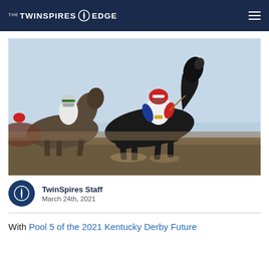THE TWINSPIRES EDGE
[Figure (photo): Horse racing photo showing jockeys racing close together, with a dark horse in the lead and a jockey in red/blue colors, light blue sky background.]
TwinSpires Staff
March 24th, 2021
With Pool 5 of the 2021 Kentucky Derby Future